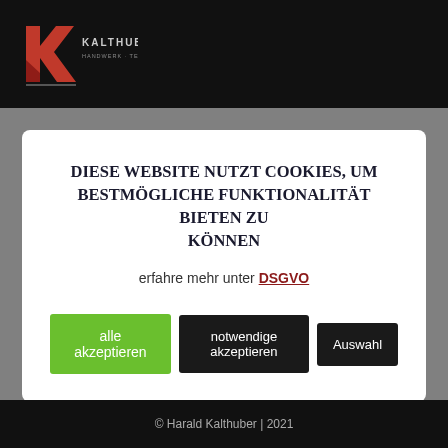[Figure (logo): Kalthuber company logo — red/dark K letter mark with KALTHUBER text, on black background]
DIESE WEBSITE NUTZT COOKIES, UM BESTMÖGLICHE FUNKTIONALITÄT BIETEN ZU KÖNNEN
erfahre mehr unter DSGVO
alle akzeptieren | notwendige akzeptieren | Auswahl
© Harald Kalthuber | 2021